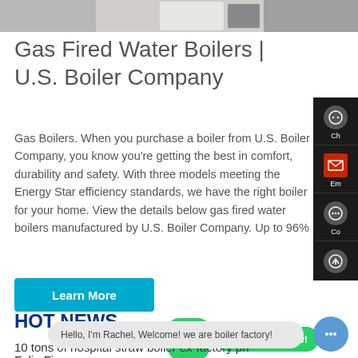[Figure (photo): Partial view of boiler/heating equipment in a room setting, cropped at top]
Gas Fired Water Boilers | U.S. Boiler Company
Gas Boilers. When you purchase a boiler from U.S. Boiler Company, you know you're getting the best in comfort, durability and safety. With three models meeting the Energy Star efficiency standards, we have the right boiler for your home. View the details below gas fired water boilers manufactured by U.S. Boiler Company. Up to 96%
[Figure (other): Teal 'Learn More' button]
HOT NEWS
[Figure (other): Right sidebar with chat/email/contact icons on dark background]
[Figure (other): WhatsApp icon button and green 'Contact us now!' button]
10 tons of hospital straw boiler ex-factory pri
Felin Fi
[Figure (other): Chat bubble: Hello, I'm Rachel, Welcome! we are boiler factory!]
[Figure (other): Blue circle chat button with three dots]